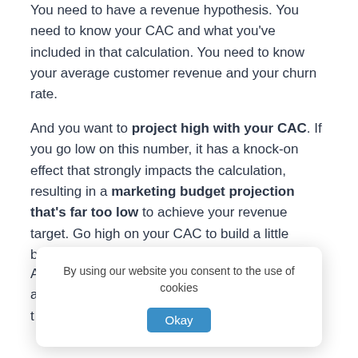You need to have a revenue hypothesis. You need to know your CAC and what you've included in that calculation. You need to know your average customer revenue and your churn rate.
And you want to project high with your CAC. If you go low on this number, it has a knock-on effect that strongly impacts the calculation, resulting in a marketing budget projection that's far too low to achieve your revenue target. Go high on your CAC to build a little buffer.
At RevPipes, we help startups break down their assumptions into buildable and actionable numbers that can help you understand how to ma...
By using our website you consent to the use of cookies